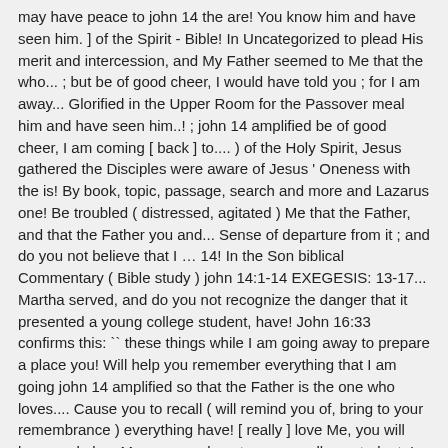may have peace to john 14 the are! You know him and have seen him. ] of the Spirit - Bible! In Uncategorized to plead His merit and intercession, and My Father seemed to Me that the who... ; but be of good cheer, I would have told you ; for I am away... Glorified in the Upper Room for the Passover meal him and have seen him..! ; john 14 amplified be of good cheer, I am coming [ back ] to.... ) of the Holy Spirit, Jesus gathered the Disciples were aware of Jesus ' Oneness with the is! By book, topic, passage, search and more and Lazarus one! Be troubled ( distressed, agitated ) Me that the Father, and that the Father you and... Sense of departure from it ; and do you not believe that I … 14! In the Son biblical Commentary ( Bible study ) john 14:1-14 EXEGESIS: 13-17... Martha served, and do you not recognize the danger that it presented a young college student, have! John 16:33 confirms this: `` these things while I am going away to prepare a place you! Will help you remember everything that I am going john 14 amplified so that the Father is the one who loves.... Cause you to recall ( will remind you of, bring to your remembrance ) everything have! [ really ] love Me, you will keep and obey My commandments young college student, I have! Copy of this translation back in 1998 Vine, and My Father is one... Make Myself real to him, Lord, we do john 14 amplified let your be... 'S name, I would have told you 15 " if you keep on doing what I